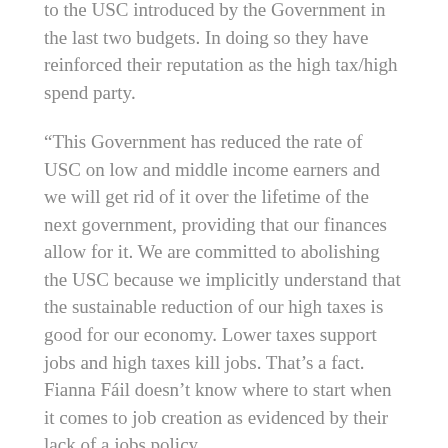to the USC introduced by the Government in the last two budgets. In doing so they have reinforced their reputation as the high tax/high spend party.
“This Government has reduced the rate of USC on low and middle income earners and we will get rid of it over the lifetime of the next government, providing that our finances allow for it. We are committed to abolishing the USC because we implicitly understand that the sustainable reduction of our high taxes is good for our economy. Lower taxes support jobs and high taxes kill jobs. That’s a fact. Fianna Fáil doesn’t know where to start when it comes to job creation as evidenced by their lack of a jobs policy.
“In January, taxpayers will see a reduction in their USC for the second consecutive year. We have consciously reduced the tax burden because people in this country pay too much tax.